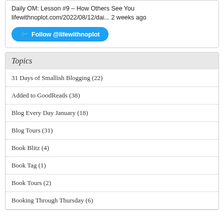Daily OM: Lesson #9 – How Others See You
lifewithnoplot.com/2022/08/12/dai... 2 weeks ago
Follow @lifewithnoplot
Topics
31 Days of Smallish Blogging (22)
Added to GoodReads (38)
Blog Every Day January (18)
Blog Tours (31)
Book Blitz (4)
Book Tag (1)
Book Tours (2)
Booking Through Thursday (6)